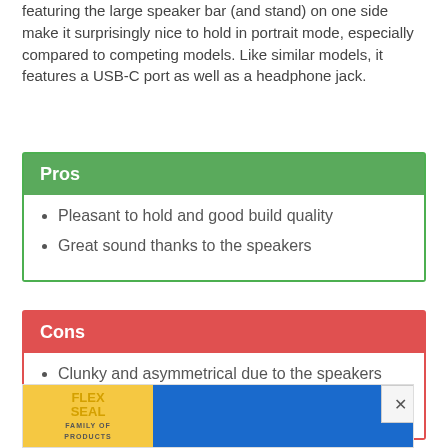featuring the large speaker bar (and stand) on one side make it surprisingly nice to hold in portrait mode, especially compared to competing models. Like similar models, it features a USB-C port as well as a headphone jack.
| Pros |
| --- |
| Pleasant to hold and good build quality |
| Great sound thanks to the speakers |
| Cons |
| --- |
| Clunky and asymmetrical due to the speakers |
| Heavier than competitors |
[Figure (other): Advertisement banner at bottom of page showing Flex Seal product logo on yellow background and blue banner area with play/close controls]